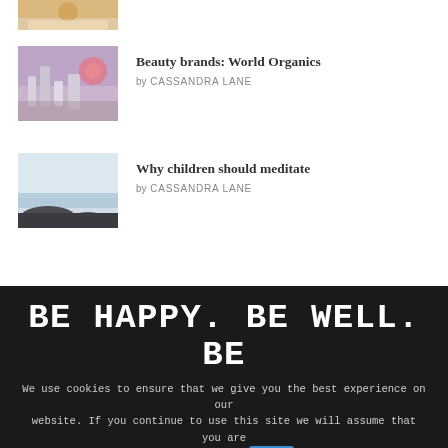[Figure (photo): Partial thumbnail of food/soup image at top]
[Figure (photo): Thumbnail of beauty/skincare products with flowers]
Beauty brands: World Organics
by CASSANDRA LANE
[Figure (photo): Thumbnail of coastal seascape with rocks]
Why children should meditate
by CASSANDRA LANE
BE HAPPY. BE WELL. BE
We use cookies to ensure that we give you the best experience on our website. If you continue to use this site we will assume that you are happy with it.